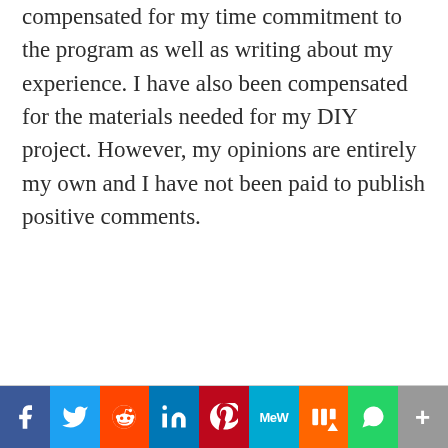compensated for my time commitment to the program as well as writing about my experience. I have also been compensated for the materials needed for my DIY project. However, my opinions are entirely my own and I have not been paid to publish positive comments.
[Figure (other): Social media sharing bar with icons for Facebook, Twitter, Reddit, LinkedIn, Pinterest, MeWe, Mix, WhatsApp, and More]